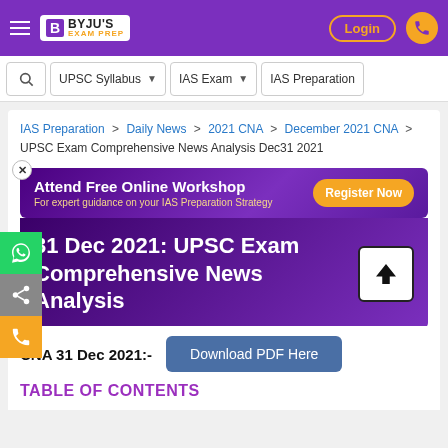BYJU'S EXAM PREP — Login
[Figure (screenshot): Navigation bar with UPSC Syllabus, IAS Exam dropdowns and IAS Preparation link]
IAS Preparation > Daily News > 2021 CNA > December 2021 CNA > UPSC Exam Comprehensive News Analysis Dec31 2021
[Figure (infographic): Ad banner: Attend Free Online Workshop — For expert guidance on your IAS Preparation Strategy — Register Now button]
31 Dec 2021: UPSC Exam Comprehensive News Analysis
CNA 31 Dec 2021:-
Download PDF Here
TABLE OF CONTENTS